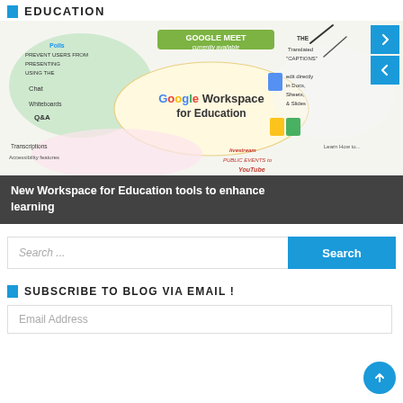EDUCATION
[Figure (illustration): Google Workspace for Education infographic showing Google Meet, Google tools (Docs, Sheets, Slides), features like transcriptions, Q&A, chat, whiteboards, polls, accessibility features, live captions, YouTube live streaming, and more.]
New Workspace for Education tools to enhance learning
Search ...
SUBSCRIBE TO BLOG VIA EMAIL !
Email Address